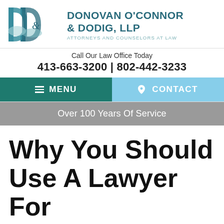[Figure (logo): Donovan O'Connor & Dodig, LLP law firm logo — stylized D&D letters in teal/blue tones]
DONOVAN O'CONNOR & DODIG, LLP
ATTORNEYS AND COUNSELORS AT LAW
Call Our Law Office Today
413-663-3200 | 802-442-3233
MENU
CONTACT
Over 100 Years Of Service
Why You Should Use A Lawyer For